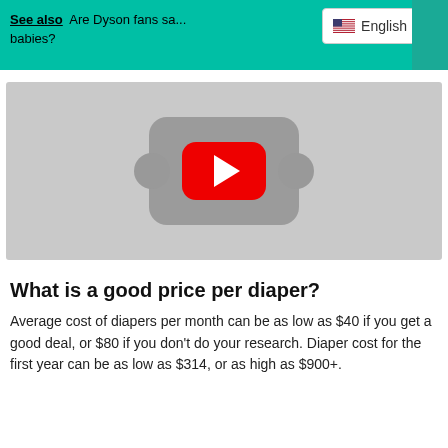See also  Are Dyson fans sa... babies?
[Figure (screenshot): YouTube video player thumbnail with grey background and red play button]
What is a good price per diaper?
Average cost of diapers per month can be as low as $40 if you get a good deal, or $80 if you don't do your research. Diaper cost for the first year can be as low as $314, or as high as $900+.